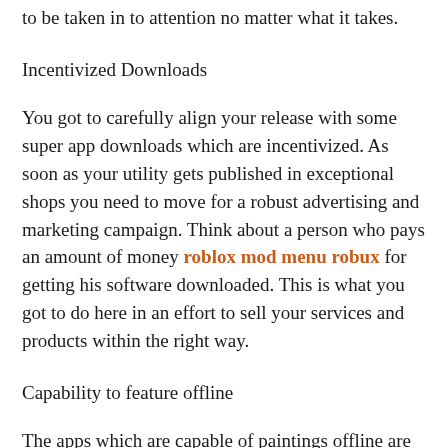to be taken in to attention no matter what it takes.
Incentivized Downloads
You got to carefully align your release with some super app downloads which are incentivized. As soon as your utility gets published in exceptional shops you need to move for a robust advertising and marketing campaign. Think about a person who pays an amount of money roblox mod menu robux for getting his software downloaded. This is what you got to do here in an effort to sell your services and products within the right way.
Capability to feature offline
The apps which are capable of paintings offline are the excellent ones as they may be capable of appeal to increasingly more audiences. You want to increase an application which features offline and gives you the chance to attract customers who don't actually have